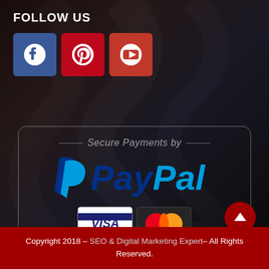FOLLOW US
[Figure (illustration): Three social media icons: Facebook (blue), Pinterest (red), YouTube (red)]
[Figure (logo): Secure Payments by PayPal badge with VISA and MasterCard logos inside a rounded rectangle border]
Copyright 2018 – SEO & Digital Marketing Expert– All Rights Reserved.